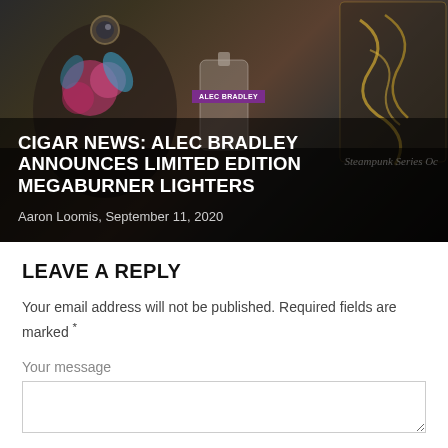[Figure (photo): Hero image showing decorative cigar lighters with floral and steampunk designs, partially overlaid with dark gradient. Includes an 'ALEC BRADLEY' brand label and 'Steampunk Series Oc' text visible at right edge.]
CIGAR NEWS: ALEC BRADLEY ANNOUNCES LIMITED EDITION MEGABURNER LIGHTERS
Aaron Loomis, September 11, 2020
LEAVE A REPLY
Your email address will not be published. Required fields are marked *
Your message